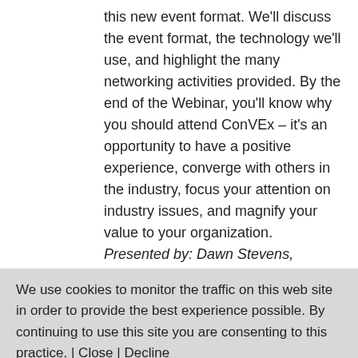this new event format. We'll discuss the event format, the technology we'll use, and highlight the many networking activities provided. By the end of the Webinar, you'll know why you should attend ConVEx – it's an opportunity to have a positive experience, converge with others in the industry, focus your attention on industry issues, and magnify your value to your organization. Presented by: Dawn Stevens, President, Comtech Services and Director of CIDM has 28 years of practical experience in virtually every role within a documentation and training department, including project management, instructional design, writing, editing, and multimedia programming. Dawn is
We use cookies to monitor the traffic on this web site in order to provide the best experience possible. By continuing to use this site you are consenting to this practice. | Close | Decline